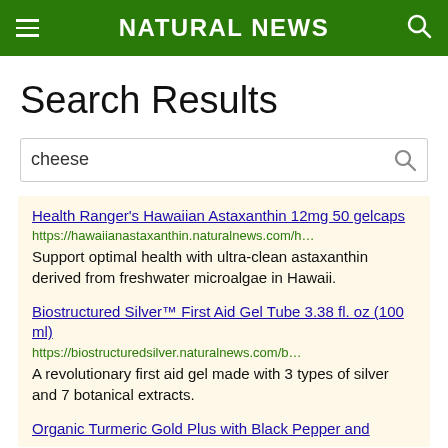NATURAL NEWS
Search Results
cheese
Health Ranger's Hawaiian Astaxanthin 12mg 50 gelcaps
https://hawaiianastaxanthin.naturalnews.com/h…
Support optimal health with ultra-clean astaxanthin derived from freshwater microalgae in Hawaii.
Biostructured Silver™ First Aid Gel Tube 3.38 fl. oz (100 ml)
https://biostructuredsilver.naturalnews.com/b…
A revolutionary first aid gel made with 3 types of silver and 7 botanical extracts.
Organic Turmeric Gold Plus with Black Pepper and